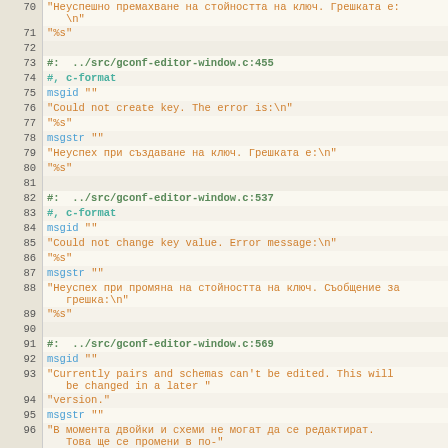Source code / PO file viewer showing lines 70-98 of a Bulgarian localization file for gconf-editor
| line | code |
| --- | --- |
| 70 | "Неуспешно премахване на стойността на ключ. Грешката е:\n" |
| 71 | "%s" |
| 72 |  |
| 73 | #:  ../src/gconf-editor-window.c:455 |
| 74 | #, c-format |
| 75 | msgid "" |
| 76 | "Could not create key. The error is:\n" |
| 77 | "%s" |
| 78 | msgstr "" |
| 79 | "Неуспех при създаване на ключ. Грешката е:\n" |
| 80 | "%s" |
| 81 |  |
| 82 | #:  ../src/gconf-editor-window.c:537 |
| 83 | #, c-format |
| 84 | msgid "" |
| 85 | "Could not change key value. Error message:\n" |
| 86 | "%s" |
| 87 | msgstr "" |
| 88 | "Неуспех при промяна на стойността на ключ. Съобщение за грешка:\n" |
| 89 | "%s" |
| 90 |  |
| 91 | #:  ../src/gconf-editor-window.c:569 |
| 92 | msgid "" |
| 93 | "Currently pairs and schemas can't be edited. This will be changed in a later " |
| 94 | "version." |
| 95 | msgstr "" |
| 96 | "В момента двойки и схеми не могат да се редактират. Това ще се промени в по-" |
| 97 | "нова версия." |
| 98 |  |